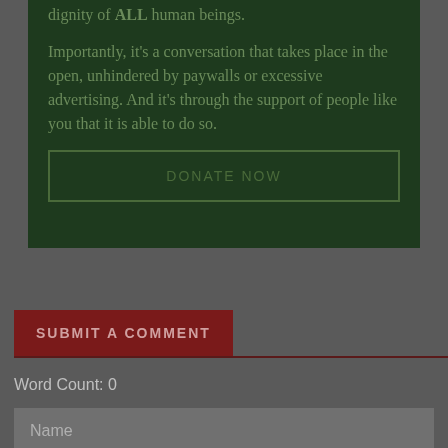dignity of ALL human beings.
Importantly, it's a conversation that takes place in the open, unhindered by paywalls or excessive advertising. And it's through the support of people like you that it is able to do so.
DONATE NOW
SUBMIT A COMMENT
Word Count: 0
Name